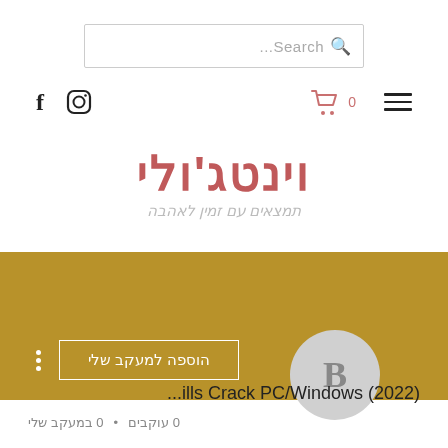[Figure (screenshot): Search bar with placeholder text '...Search' and magnifying glass icon]
[Figure (screenshot): Navigation bar with Facebook icon, Instagram icon on left, shopping cart with count '0' and hamburger menu on right]
וינטג'ולי
תמצאים עם זמין לאהבה
[Figure (screenshot): Gold/tan colored banner with three dots menu, 'הוספה למעקב שלי' button, and avatar circle with letter B]
...ills Crack PC/Windows (2022)
0 עוקבים • 0 במעקב שלי